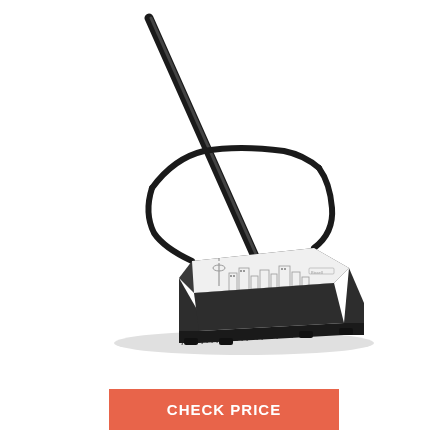[Figure (photo): A manual carpet sweeper / floor sweeper with a long black handle and a black and white rectangular sweeper head with a city skyline graphic on the top. The sweeper has rubber feet and brush strips along the bottom. The handle extends diagonally upward to the left. The product appears to be a Bissell-style mechanical sweeper.]
CHECK PRICE